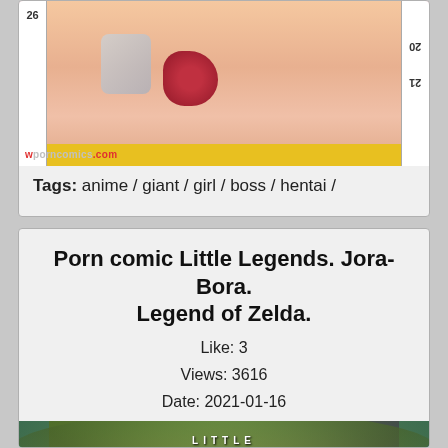[Figure (illustration): Anime/hentai comic illustration showing an anime female figure with a ruler and red element, with watermark 'wporncomics.com']
Tags: anime / giant / girl / boss / hentai /
Porn comic Little Legends. Jora-Bora. Legend of Zelda.
Like: 3
Views: 3616
Date: 2021-01-16
[Figure (illustration): Cover art for 'Little Legends' comic with large stylized red text 'LEGENDS' on colorful background]